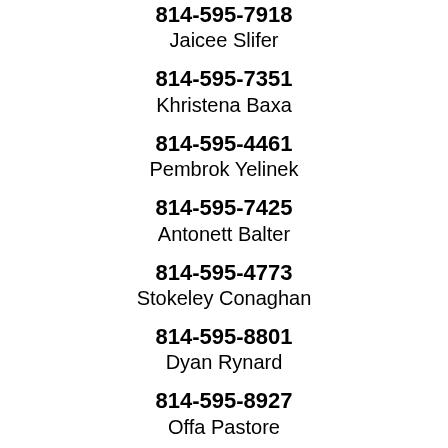814-595-7918
Jaicee Slifer
814-595-7351
Khristena Baxa
814-595-4461
Pembrok Yelinek
814-595-7425
Antonett Balter
814-595-4773
Stokeley Conaghan
814-595-8801
Dyan Rynard
814-595-8927
Offa Pastore
814-595-5300
Bathshua Herren
814-595-4580
Yaarit Casagrande